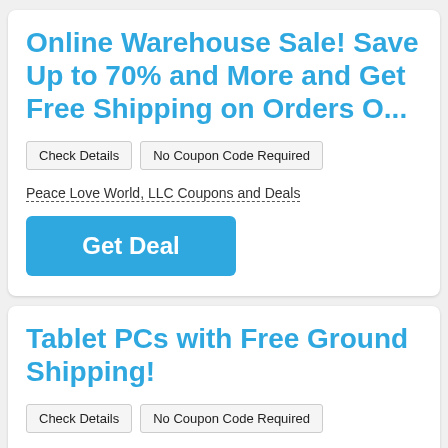Online Warehouse Sale! Save Up to 70% and More and Get Free Shipping on Orders O...
Check Details
No Coupon Code Required
Peace Love World, LLC Coupons and Deals
Get Deal
Tablet PCs with Free Ground Shipping!
Check Details
No Coupon Code Required
PcRUSH.com Coupons and Deals